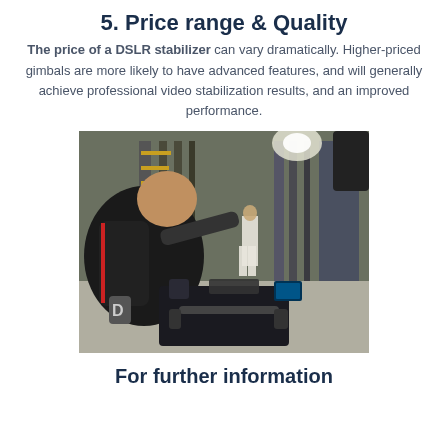5. Price range & Quality
The price of a DSLR stabilizer can vary dramatically. Higher-priced gimbals are more likely to have advanced features, and will generally achieve professional video stabilization results, and an improved performance.
[Figure (photo): A cameraman wearing a stabilizer vest and harness operates a large professional camera gimbal/stabilizer rig in a warehouse setting, while a woman in a white dress stands in the background near shelves of equipment.]
For further information